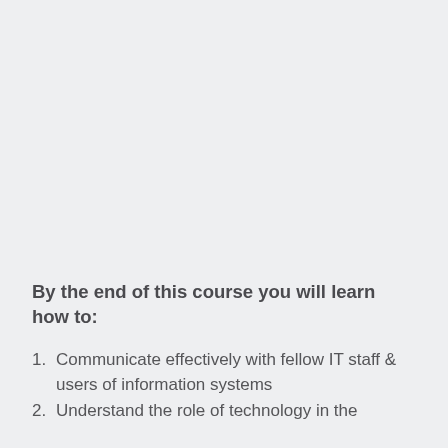By the end of this course you will learn how to:
Communicate effectively with fellow IT staff & users of information systems
Understand the role of technology in the